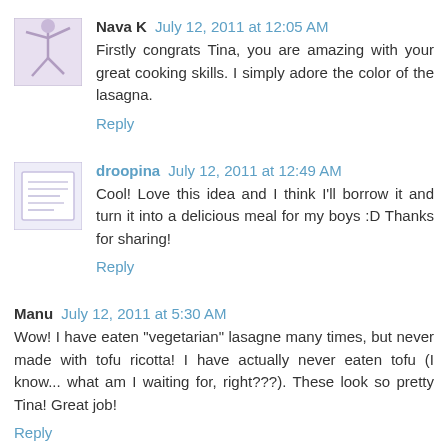[Figure (photo): Avatar image for Nava K - yoga/exercise figure with purple tones]
Nava K July 12, 2011 at 12:05 AM
Firstly congrats Tina, you are amazing with your great cooking skills. I simply adore the color of the lasagna.
Reply
[Figure (photo): Avatar image for droopina - appears to be a note/document with purple tones]
droopina July 12, 2011 at 12:49 AM
Cool! Love this idea and I think I'll borrow it and turn it into a delicious meal for my boys :D Thanks for sharing!
Reply
Manu July 12, 2011 at 5:30 AM
Wow! I have eaten "vegetarian" lasagne many times, but never made with tofu ricotta! I have actually never eaten tofu (I know... what am I waiting for, right???). These look so pretty Tina! Great job!
Reply